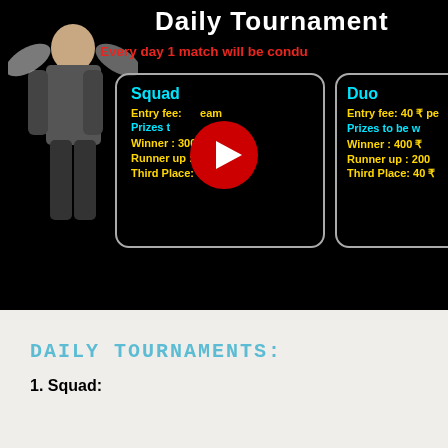[Figure (screenshot): YouTube video thumbnail showing a PUBG-style game tournament advertisement. Dark/black background with a character on the left. Title 'Daily Tournament' in white at top right. Red subtitle 'Every day 1 match will be condu...' Text boxes for Squad (Entry fee, Prizes: Winner 300₹, Runner up 150₹, Third Place 50₹) and Duo (Entry fee: 40₹, Prizes: Winner 400₹, Runner up 200₹, Third Place 40₹). YouTube play button in center.]
DAILY TOURNAMENTS:
1. Squad: